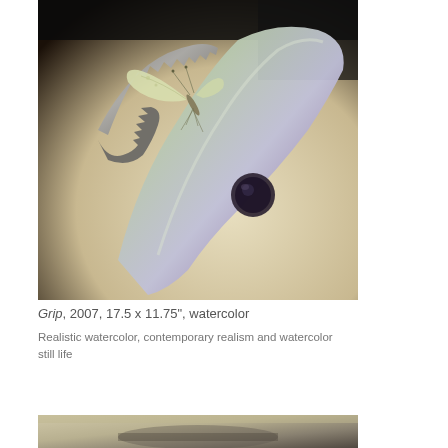[Figure (photo): Close-up photograph of a metallic pruning shears/secateurs with serrated jaws, with a pale green/white butterfly perched on the blade teeth. The metal tool has a distinctive curved blade with a circular hole, rendered in silvery-purple tones against a light cream/beige background.]
Grip, 2007, 17.5 x 11.75", watercolor
Realistic watercolor, contemporary realism and watercolor still life
[Figure (photo): Partial view of another artwork or photograph at the bottom of the page, mostly cropped.]